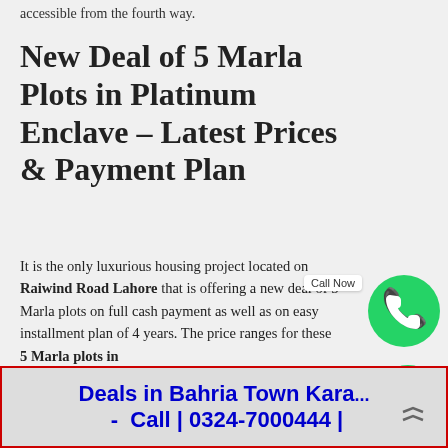accessible from the fourth way.
New Deal of 5 Marla Plots in Platinum Enclave – Latest Prices & Payment Plan
It is the only luxurious housing project located on Raiwind Road Lahore that is offering a new deal of 5 Marla plots on full cash payment as well as on easy installment plan of 4 years. The price ranges for these 5 Marla plots in
[Figure (other): WhatsApp call button with 'Call Now' label - green circle with phone icon]
[Figure (other): WhatsApp icon - green circle with WhatsApp logo]
Deals in Bahria Town Kara... - Call | 0324-7000444 |